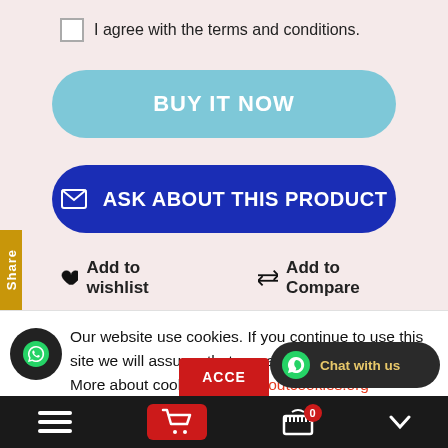I agree with the terms and conditions.
BUY IT NOW
✉ ASK ABOUT THIS PRODUCT
♥ Add to wishlist   ⇌ Add to Compare
Share
Our website use cookies. If you continue to use this site we will assume that you are happy with this. More about cookies: www.aboutcookies.org
ACCE
Chat with us